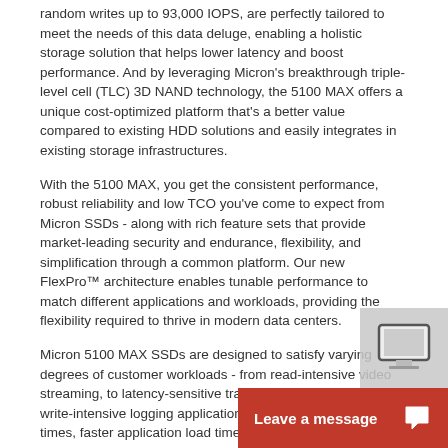random writes up to 93,000 IOPS, are perfectly tailored to meet the needs of this data deluge, enabling a holistic storage solution that helps lower latency and boost performance. And by leveraging Micron's breakthrough triple-level cell (TLC) 3D NAND technology, the 5100 MAX offers a unique cost-optimized platform that's a better value compared to existing HDD solutions and easily integrates in existing storage infrastructures.
With the 5100 MAX, you get the consistent performance, robust reliability and low TCO you've come to expect from Micron SSDs - along with rich feature sets that provide market-leading security and endurance, flexibility, and simplification through a common platform. Our new FlexPro™ architecture enables tunable performance to match different applications and workloads, providing the flexibility required to thrive in modern data centers.
Micron 5100 MAX SSDs are designed to satisfy varying degrees of customer workloads - from read-intensive video streaming, to latency-sensitive transactional databases, to write-intensive logging applications - with enhanced boot times, faster application load times, and reduced power consumption.
Self-Encrypting Drive (SED)
The 5100 MAX series features an AES-256 encryption engine, providing hardware-based, secure data encryption, with no loss of SSD performance. Enterprise specification Enterprise features are n